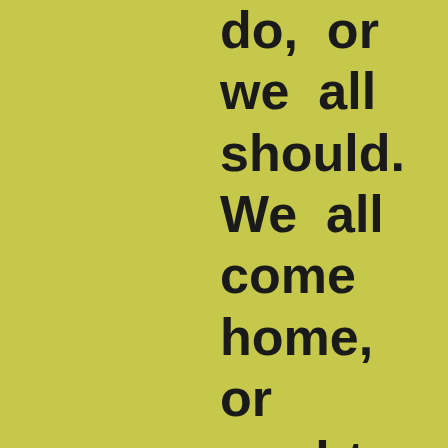We all do, or we all should. We all come home, or ought to come home, for a short holiday - the longer, the better